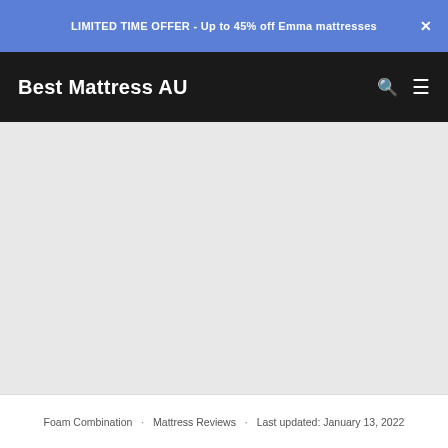LIMITED TIME OFFER - Up to 45% off Emma mattresses
Best Mattress AU
[Figure (other): Large empty grey content area placeholder]
Foam Combination · Mattress Reviews · Last updated: January 13, 2022